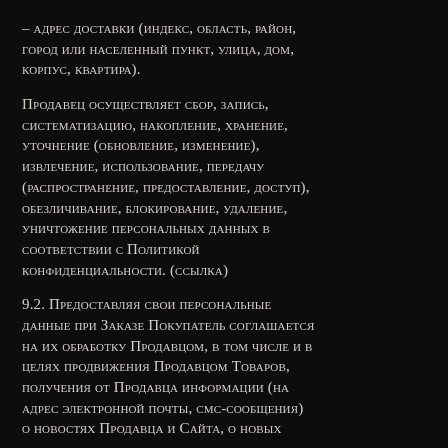– адрес доставки (индекс, область, район, город или населенный пункт, улица, дом, корпус, квартира).
Продавец осуществляет сбор, запись, систематизацию, накопление, хранение, уточнение (обновление, изменение), извлечение, использование, передачу (распространение, предоставление, доступ), обезличивание, блокирование, удаление, уничтожение персональных данных в соответствии с Политикой конфиденциальности. (ссылка)
9.2. Предоставляя свои персональные данные при Заказе Покупатель соглашается на их обработку Продавцом, в том числе и в целях продвижения Продавцом Товаров, получения от Продавца информации (на адрес электронной почты, смс-сообщения) о новостях Продавца и Сайта, о новых